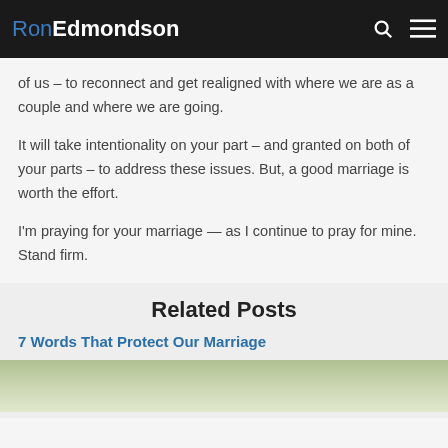RonEdmondson
of us – to reconnect and get realigned with where we are as a couple and where we are going.
It will take intentionality on your part – and granted on both of your parts – to address these issues. But, a good marriage is worth the effort.
I'm praying for your marriage — as I continue to pray for mine. Stand firm.
Related Posts
7 Words That Protect Our Marriage
[Figure (photo): Partial photo of a person outdoors with blurred green background]